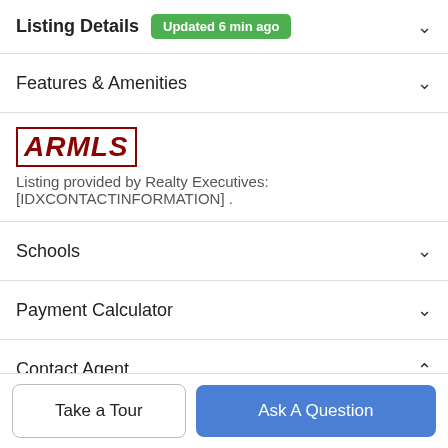Listing Details  Updated 6 min ago
Features & Amenities
[Figure (logo): ARMLS logo in dark red italic bold text with border]
Listing provided by Realty Executives: [IDXCONTACTINFORMATION] .
Schools
Payment Calculator
Contact Agent
Take a Tour
Ask A Question